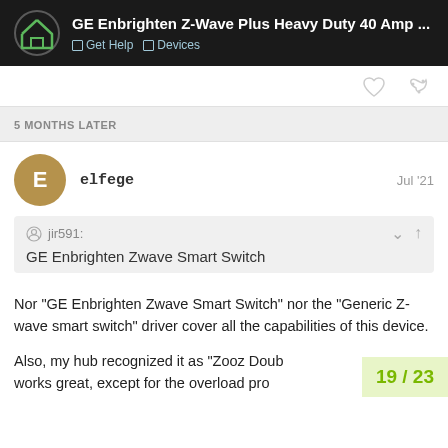GE Enbrighten Z-Wave Plus Heavy Duty 40 Amp ... | Get Help | Devices
5 MONTHS LATER
elfege  Jul '21
jir591:
GE Enbrighten Zwave Smart Switch
Nor "GE Enbrighten Zwave Smart Switch" nor the "Generic Z-wave smart switch" driver cover all the capabilities of this device.
Also, my hub recognized it as "Zooz Doub works great, except for the overload pro
19 / 23